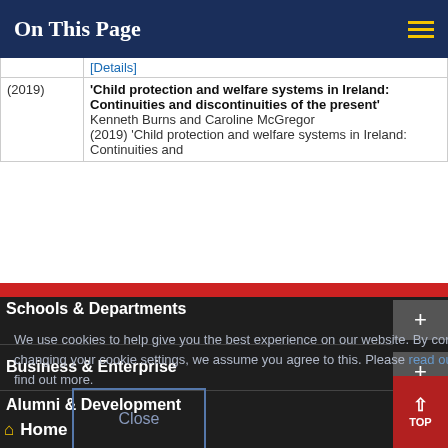On This Page
| Year | Reference |
| --- | --- |
|  | [Details] |
| (2019) | 'Child protection and welfare systems in Ireland: Continuities and discontinuities of the present' Kenneth Burns and Caroline McGregor (2019) 'Child protection and welfare systems in Ireland: Continuities and |
Schools & Departments
We use cookies to help give you the best experience on our website. By continuing without changing your cookie settings, we assume you agree to this. Please read our cookie policy to find out more.
Business & Enterprise
Alumni & Development
Close
Home